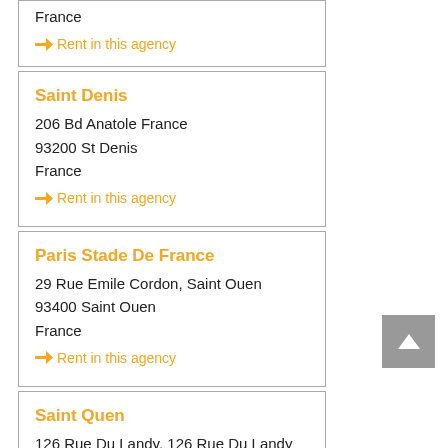France
→ Rent in this agency
Saint Denis
206 Bd Anatole France
93200 St Denis
France
→ Rent in this agency
Paris Stade De France
29 Rue Emile Cordon, Saint Ouen
93400 Saint Ouen
France
→ Rent in this agency
Saint Quen
126 Rue Du Landy, 126 Rue Du Landy